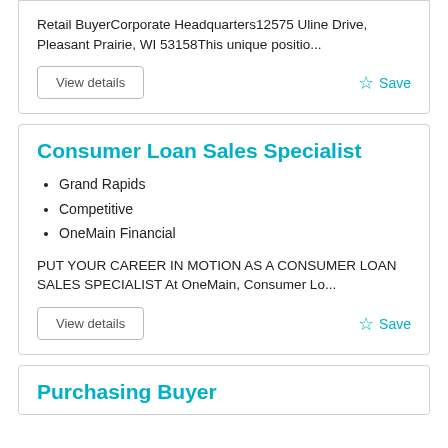Retail BuyerCorporate Headquarters12575 Uline Drive, Pleasant Prairie, WI 53158This unique positio...
View details
Save
Consumer Loan Sales Specialist
Grand Rapids
Competitive
OneMain Financial
PUT YOUR CAREER IN MOTION AS A CONSUMER LOAN SALES SPECIALIST At OneMain, Consumer Lo...
View details
Save
Purchasing Buyer